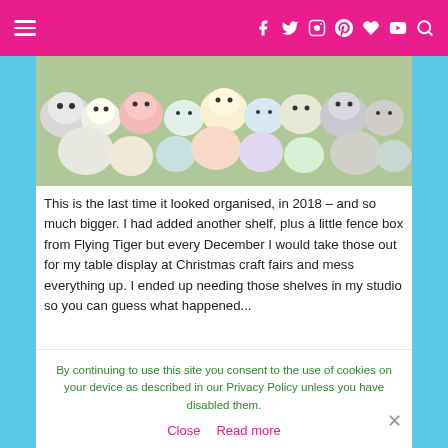≡  [social icons: Facebook, Twitter, Instagram, Pinterest, Heart, YouTube, Search]
[Figure (photo): A collection of small stuffed animal plush toys (Squishmallows/similar) arranged on shelves, photographed in 2018]
This is the last time it looked organised, in 2018 – and so much bigger. I had added another shelf, plus a little fence box from Flying Tiger but every December I would take those out for my table display at Christmas craft fairs and mess everything up. I ended up needing those shelves in my studio so you can guess what happened...
By continuing to use this site you consent to the use of cookies on your device as described in our Privacy Policy unless you have disabled them.
Close  Read more